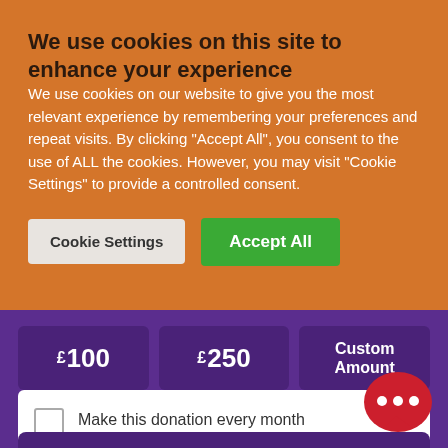We use cookies on this site to enhance your experience
We use cookies on our website to give you the most relevant experience by remembering your preferences and repeat visits. By clicking "Accept All", you consent to the use of ALL the cookies. However, you may visit "Cookie Settings" to provide a controlled consent.
Cookie Settings | Accept All
[Figure (screenshot): Donation amount selector showing £100, £250, and Custom Amount buttons in purple, followed by a monthly donation checkbox with dropdown, and a Donate Now button. A red chat bubble with ellipsis is in the bottom right.]